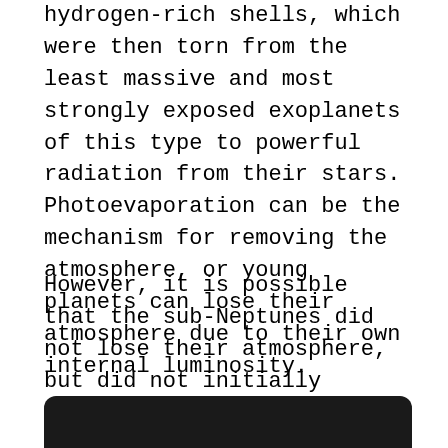hydrogen-rich shells, which were then torn from the least massive and most strongly exposed exoplanets of this type to powerful radiation from their stars. Photoevaporation can be the mechanism for removing the atmosphere, or young planets can lose their atmosphere due to their own internal luminosity.
However, it is possible that the sub-Neptunes did not lose their atmosphere, but did not initially accrete gas onto their cores if the mass of the cores was small. It is also possible that some mini-Neptunes have outer shells rich in water rather than hydrogen, dramatically changing the rate of atmospheric loss.
[Figure (other): Dark bar at the bottom of the page, appears to be the top edge of an image or dark background section]